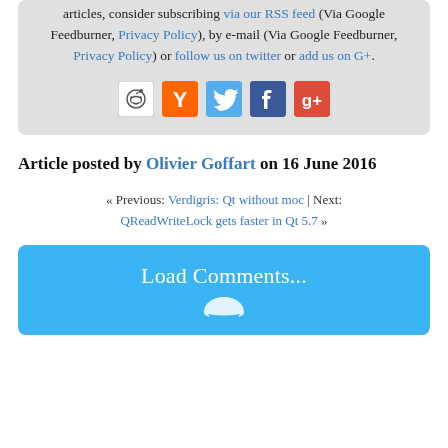articles, consider subscribing via our RSS feed (Via Google Feedburner, Privacy Policy), by e-mail (Via Google Feedburner, Privacy Policy) or follow us on twitter or add us on G+.
[Figure (other): Social media share icons: Reddit, Hacker News (Y), Twitter, Facebook, Google+]
Article posted by Olivier Goffart on 16 June 2016
« Previous: Verdigris: Qt without moc | Next: QReadWriteLock gets faster in Qt 5.7 »
Load Comments...